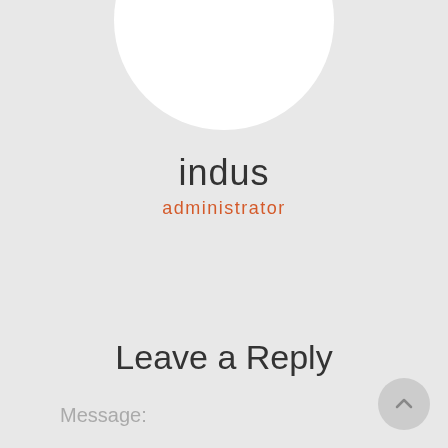[Figure (illustration): Partial white circle avatar placeholder at the top center of the page, cropped by the top edge]
indus
administrator
Leave a Reply
Message: